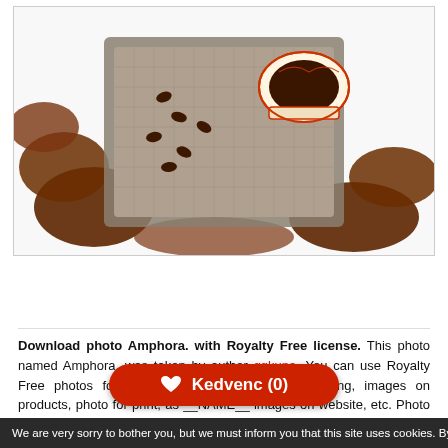[Figure (photo): Top-down view of coffee beans and a decorative Turkish coffee cup on a metallic tray, white background]
[Figure (illustration): Row of icon buttons: eye icon, heart icon, and designer/author icon (person with hat)]
Download photo Amphora. with Royalty Free license. This photo named Amphora. was taken by author ggkuna. You can use Royalty Free photos for advertisement, photos for marketing, images on products, photo for print, as __NAME__ images on website, etc. Photo displays A a clay fazekasság nevű amphora megbotlott szemes kávé. can be purchased and downloaded directly from shopping cart, or you can use any of our discount programs and subscriptions for regular photo downloads. Save your money, download Amphora. photo cheaply with our discount programs for image purchases. Fotky&Foto stock photos sells cheap Royalty Free and Editorial licensed p... ial and
Kedvenc (0)
We are very sorry to bother you, but we must inform you that this site uses cookies. By